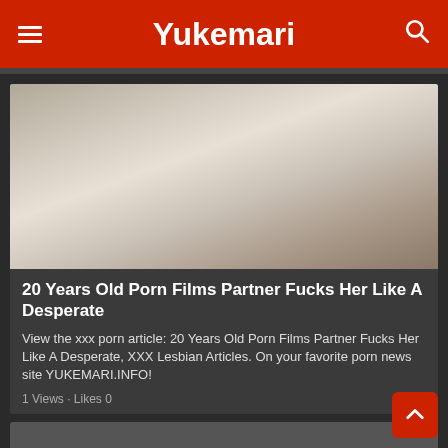Yukemari
[Figure (photo): Photo of two people in a room, one leaning over and one seated against a couch with an American flag pillow]
20 Years Old Porn Films Partner Fucks Her Like A Desperate
View the xxx porn article: 20 Years Old Porn Films Partner Fucks Her Like A Desperate, XXX Lesbian Articles. On your favorite porn news site YUKEMARI.INFO!
1 Views · Likes 0